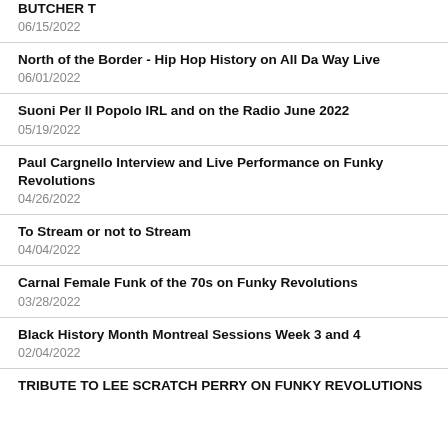BUTCHER T
06/15/2022
North of the Border - Hip Hop History on All Da Way Live
06/01/2022
Suoni Per Il Popolo IRL and on the Radio June 2022
05/19/2022
Paul Cargnello Interview and Live Performance on Funky Revolutions
04/26/2022
To Stream or not to Stream
04/04/2022
Carnal Female Funk of the 70s on Funky Revolutions
03/28/2022
Black History Month Montreal Sessions Week 3 and 4
02/04/2022
TRIBUTE TO LEE SCRATCH PERRY ON FUNKY REVOLUTIONS